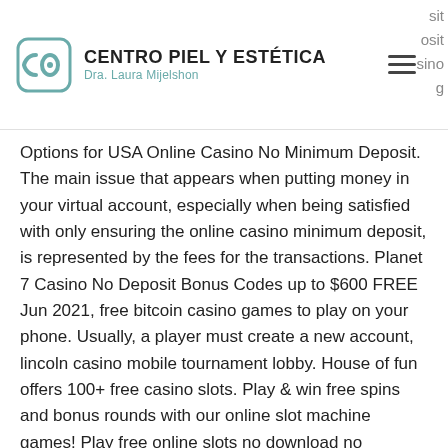CENTRO PIEL Y ESTÉTICA Dra. Laura Mijelshon
Options for USA Online Casino No Minimum Deposit. The main issue that appears when putting money in your virtual account, especially when being satisfied with only ensuring the online casino minimum deposit, is represented by the fees for the transactions. Planet 7 Casino No Deposit Bonus Codes up to $600 FREE Jun 2021, free bitcoin casino games to play on your phone. Usually, a player must create a new account, lincoln casino mobile tournament lobby. House of fun offers 100+ free casino slots. Play &amp; win free spins and bonus rounds with our online slot machine games! Play free online slots no download no registration instant play with bonus rounds no depositing cash. The best free slot machine games without downloading or.